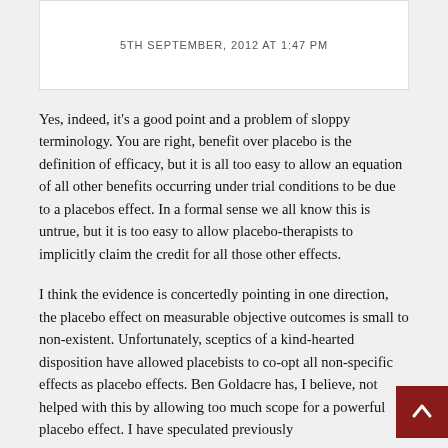5TH SEPTEMBER, 2012 AT 1:47 PM
Yes, indeed, it's a good point and a problem of sloppy terminology. You are right, benefit over placebo is the definition of efficacy, but it is all too easy to allow an equation of all other benefits occurring under trial conditions to be due to a placebos effect. In a formal sense we all know this is untrue, but it is too easy to allow placebo-therapists to implicitly claim the credit for all those other effects.
I think the evidence is concertedly pointing in one direction, the placebo effect on measurable objective outcomes is small to non-existent. Unfortunately, sceptics of a kind-hearted disposition have allowed placebists to co-opt all non-specific effects as placebo effects. Ben Goldacre has, I believe, not helped with this by allowing too much scope for a powerful placebo effect. I have speculated previously